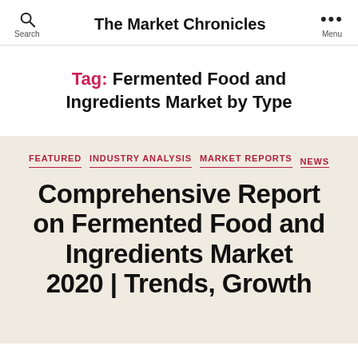The Market Chronicles
Tag: Fermented Food and Ingredients Market by Type
FEATURED  INDUSTRY ANALYSIS  MARKET REPORTS  NEWS
Comprehensive Report on Fermented Food and Ingredients Market 2020 | Trends, Growth